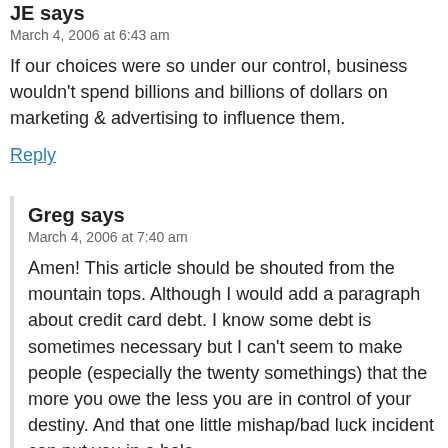JE says
March 4, 2006 at 6:43 am
If our choices were so under our control, business wouldn't spend billions and billions of dollars on marketing & advertising to influence them.
Reply
Greg says
March 4, 2006 at 7:40 am
Amen! This article should be shouted from the mountain tops. Although I would add a paragraph about credit card debt. I know some debt is sometimes necessary but I can't seem to make people (especially the twenty somethings) that the more you owe the less you are in control of your destiny. And that one little mishap/bad luck incident can put you in a hole